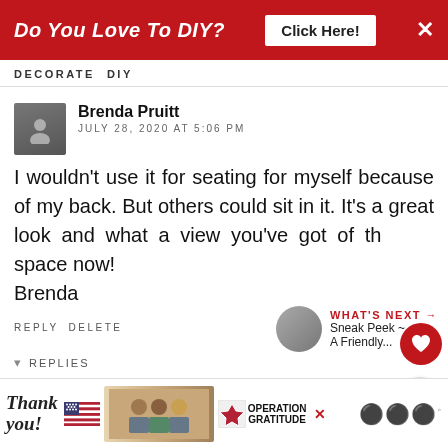Do You Love To DIY? Click Here! ×
DECORATE DIY
Brenda Pruitt
JULY 28, 2020 AT 5:06 PM
I wouldn't use it for seating for myself because of my back. But others could sit in it. It's a great look and what a view you've got of the space now!
Brenda
REPLY DELETE
WHAT'S NEXT → Sneak Peek ~ A Friendly...
▼ REPLIES
[Figure (screenshot): Advertisement banner: Thank you with American flag, Operation Gratitude photo and logo]